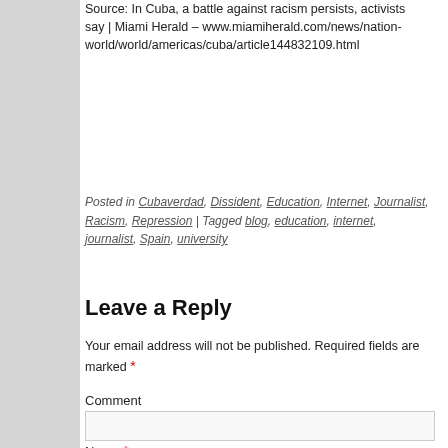Source: In Cuba, a battle against racism persists, activists say | Miami Herald – www.miamiherald.com/news/nation-world/world/americas/cuba/article144832109.html
Posted in Cubaverdad, Dissident, Education, Internet, Journalist, Racism, Repression | Tagged blog, education, internet, journalist, Spain, university
Leave a Reply
Your email address will not be published. Required fields are marked *
Comment
Name *
Email *